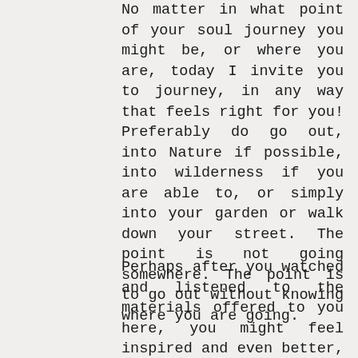No matter in what point of your soul journey you might be, or where you are, today I invite you to journey, in any way that feels right for you! Preferably do go out, into Nature if possible, into wilderness if you are able to, or simply into your garden or walk down your street. The point is not going somewhere. The point is to go out without knowing where you are going.
Perhaps after you watched and listened to the materials offered to you here, you might feel inspired and even better, you might be Seeing with new eyes, that is the attitude we want to